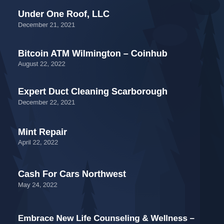Under One Roof, LLC
December 21, 2021
Bitcoin ATM Wilmington – Coinhub
August 22, 2022
Expert Duct Cleaning Scarborough
December 22, 2021
Mint Repair
April 22, 2022
Cash For Cars Northwest
May 24, 2022
Embrace New Life Counseling & Wellness –